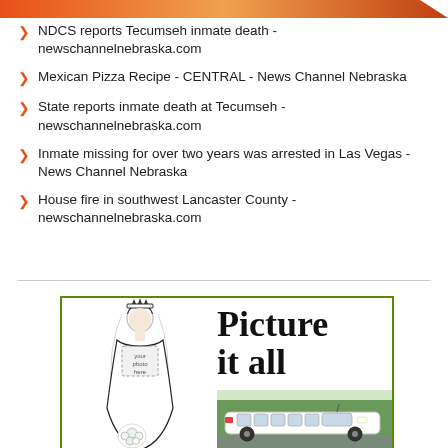NDCS reports Tecumseh inmate death - newschannelnebraska.com
Mexican Pizza Recipe - CENTRAL - News Channel Nebraska
State reports inmate death at Tecumseh - newschannelnebraska.com
Inmate missing for over two years was arrested in Las Vegas - News Channel Nebraska
House fire in southwest Lancaster County - newschannelnebraska.com
[Figure (illustration): Advertisement with 'Picture it all' text, a bride illustration with 'your photo here' placeholder, and a white stretch limousine photo below the text, bordered in green]